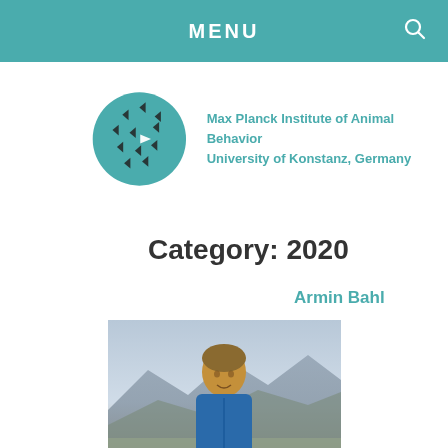MENU
[Figure (logo): Max Planck Institute of Animal Behavior logo: teal circle with black arrow/triangle shapes, with text 'Max Planck Institute of Animal Behavior University of Konstanz, Germany']
Category: 2020
Armin Bahl
[Figure (photo): Photo of Armin Bahl: a person wearing a blue jacket standing outdoors with mountains and cloudy sky in the background, smiling at camera]